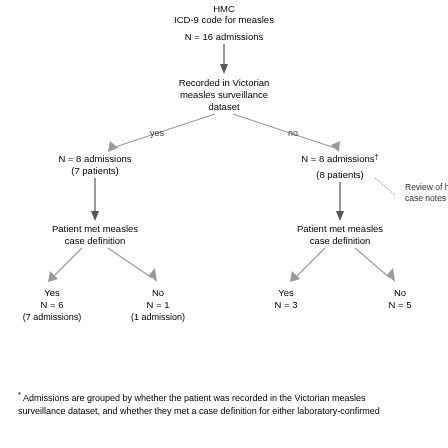[Figure (flowchart): Flowchart showing classification of HMC ICD-9 code for measles admissions. Starts with N=16 admissions, splits into two branches: recorded in Victorian measles surveillance dataset (yes: N=8 admissions, 7 patients -> Patient met measles case definition -> Yes N=6 (7 admissions), No N=1 (1 admission)) and not recorded (no: N=8 admissions† (8 patients) -> Review of hospital case notes -> Patient met measles case definition -> Yes N=3, No N=5).]
* Admissions are grouped by whether the patient was recorded in the Victorian measles surveillance dataset, and whether they met a case definition for either laboratory-confirmed